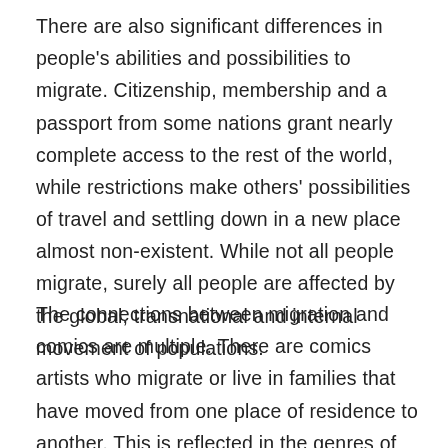There are also significant differences in people's abilities and possibilities to migrate. Citizenship, membership and a passport from some nations grant nearly complete access to the rest of the world, while restrictions make others' possibilities of travel and settling down in a new place almost non-existent. While not all people migrate, surely all people are affected by the global, transnational and internal movement of populations.
The connections between migration and comics are multiple. There are comics artists who migrate or live in families that have moved from one place of residence to another. This is reflected in the genres of graphic life writing (autobiography, biography and memoir). Other fact-based or non-fiction narratives approach such phenomena as refuge, asylum-seeking processes, detention, politics and policies of immigration by means of reportage or other